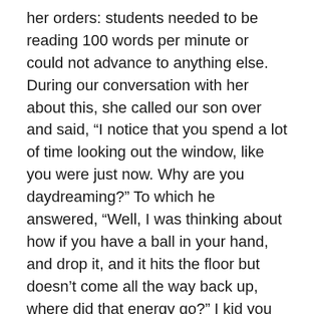her orders: students needed to be reading 100 words per minute or could not advance to anything else. During our conversation with her about this, she called our son over and said, “I notice that you spend a lot of time looking out the window, like you were just now. Why are you daydreaming?” To which he answered, “Well, I was thinking about how if you have a ball in your hand, and drop it, and it hits the floor but doesn’t come all the way back up, where did that energy go?” I kid you not. He was seven years old and this was his response. The teacher looked right at us and said, “But see? He’s not reading 100 words per minute.”
Ideally, teachers are able to use test scores as just one data point among many to determine what students need to support their learning. But the hyper-focus on testing – and accountability measures that hold teachers